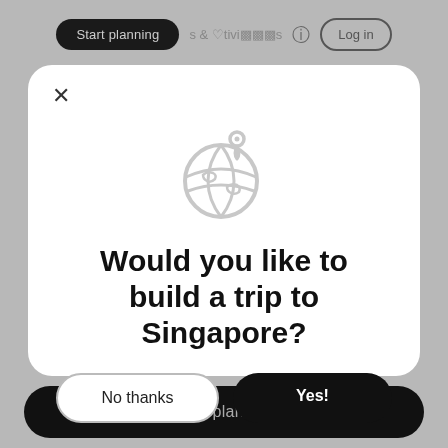[Figure (screenshot): Dimmed travel website navigation bar background showing 'Start planning', icons, and 'Log in' button]
[Figure (illustration): Globe with location pin icon, light grey outline style]
Would you like to build a trip to Singapore?
No thanks
Yes!
Start planning